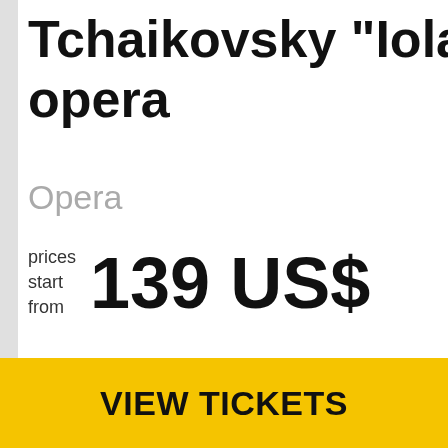Tchaikovsky "Iolanta" opera
Opera
prices start from 139 US$
In high demand – less than 14 of 2 left!
Booked 20 times today
VIEW TICKETS